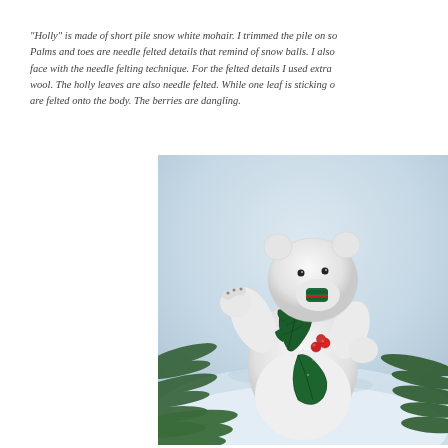"Holly" is made of short pile snow white mohair. I trimmed the pile on so... Palms and toes are needle felted details that remind of snow balls. I also... face with the needle felting technique. For the felted details I used extra... wool. The holly leaves are also needle felted. While one leaf is sticking o... are felted onto the body. The berries are dangling.
[Figure (photo): A white mohair polar bear toy named Holly, photographed outdoors in snow. The bear holds holly leaves with red berries. It has a green and red wrapped nose/mouth detail. Pine branches are visible in the foreground and background. The bear is posed against a snowy background.]